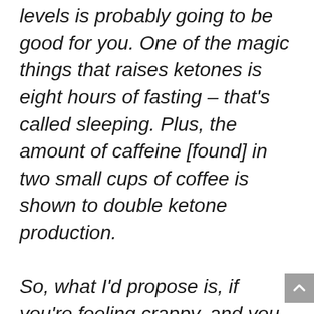levels is probably going to be good for you. One of the magic things that raises ketones is eight hours of fasting – that's called sleeping. Plus, the amount of caffeine [found] in two small cups of coffee is shown to double ketone production.

So, what I'd propose is, if you're feeling crappy, and you have COVID-19, you probably should have some coffee. And you